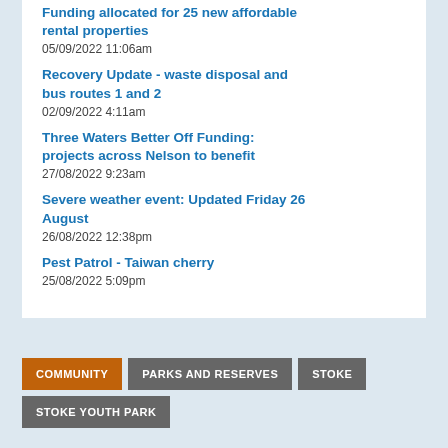Funding allocated for 25 new affordable rental properties
05/09/2022 11:06am
Recovery Update - waste disposal and bus routes 1 and 2
02/09/2022 4:11am
Three Waters Better Off Funding: projects across Nelson to benefit
27/08/2022 9:23am
Severe weather event: Updated Friday 26 August
26/08/2022 12:38pm
Pest Patrol - Taiwan cherry
25/08/2022 5:09pm
COMMUNITY | PARKS AND RESERVES | STOKE | STOKE YOUTH PARK